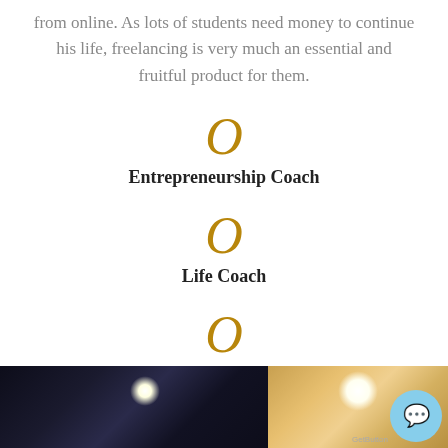from online. As lots of students need money to continue his life, freelancing is very much an essential and fruitful product for them.
O
Entrepreneurship Coach
O
Life Coach
O
Passive Income Coach
[Figure (photo): Two-panel photo strip at bottom: left side shows a dark room with a single bright ceiling light spot; right side shows a warmly lit room with golden/amber tones and a bright light source.]